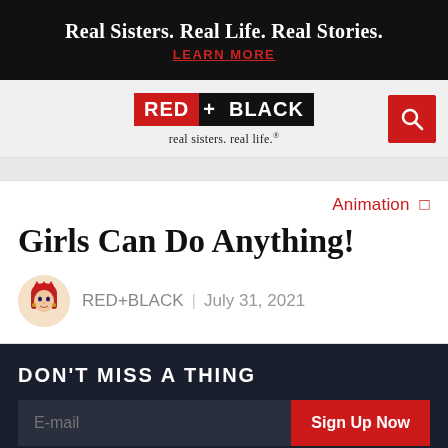Real Sisters. Real Life. Real Stories. LEARN MORE
[Figure (logo): RED+BLACK logo with tagline 'real sisters. real life.' and red search button]
Girls Can Do Anything!
Animation
RED+BLACK | July 31, 2021
DON'T MISS A THING
E-mail  Sign Up Now